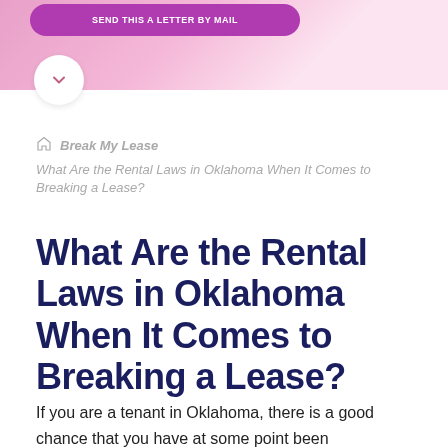[Figure (other): Pink/purple gradient banner header with a purple rounded button at top and a white circle with chevron down arrow]
Break My Lease
What Are the Rental Laws in Oklahoma When It Comes to Breaking a Lease?
What Are the Rental Laws in Oklahoma When It Comes to Breaking a Lease?
If you are a tenant in Oklahoma, there is a good chance that you have at some point been